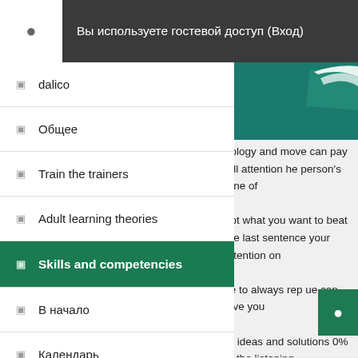Вы используете гостевой доступ (Вход)
[Figure (screenshot): Teal branded image with white wing/arrow logo on dark green background, top right]
dalico
Общее
Train the trainers
Adult learning theories
Skills and competencies (active/selected)
В начало
Календарь
nology and move can pay full attention he person's tone of not what you want to beat the last sentence your attention on ve to always rep ue can give you er ideas and solutions 0% of the listening